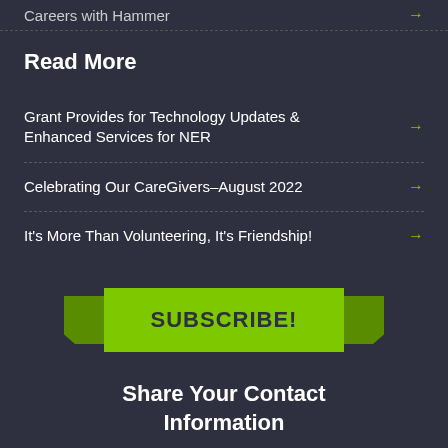Careers with Hammer →
Read More
Grant Provides for Technology Updates & Enhanced Services for NER →
Celebrating Our CareGivers–August 2022 →
It's More Than Volunteering, It's Friendship! →
[Figure (illustration): Green ribbon banner with SUBSCRIBE! text in dark bold letters]
Share Your Contact Information